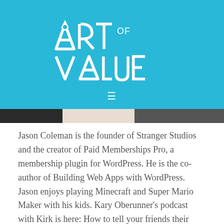[Figure (logo): Art of Value logo in white on cyan/blue background with hamburger menu icon below]
Jason Coleman is the founder of Stranger Studios and the creator of Paid Memberships Pro, a membership plugin for WordPress. He is the co-author of Building Web Apps with WordPress. Jason enjoys playing Minecraft and Super Mario Maker with his kids. Kary Oberunner's podcast with Kirk is here: How to tell your friends their Digital Fly© is down [...]
Filed Under: Episodes, Software, WordPress
Tagged With: Options, Pricing strategy, Software development